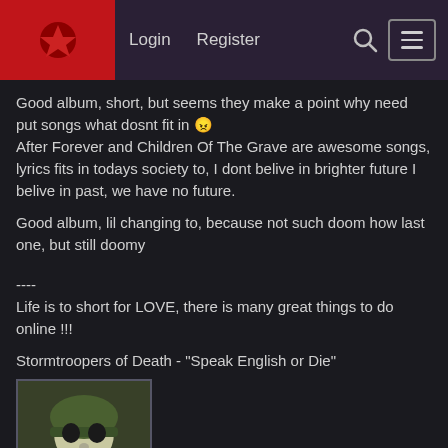Login  Register
Good album, short, but seems they make a point why need put songs what dosnt fit in 😠
After Forever and Children Of The Grave are awesome songs, lyrics fits in todays society to, I dont belive in brighter future I belive in past, we have no future.
Good album, lil changing to, because not such doom how last one, but still doomy
----
Life is to short for LOVE, there is many great things to do online !!!
Stormtroopers of Death - "Speak English or Die"
[Figure (photo): Album cover for Stormtroopers of Death - Speak English or Die. Military-themed artwork with a skull figure wearing a green army helmet.]
I better die, because I never will learn speek english, so I choose dieing